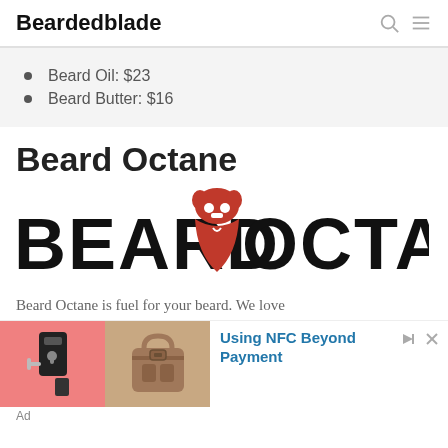Beardedblade
Beard Oil: $23
Beard Butter: $16
Beard Octane
[Figure (logo): Beard Octane brand logo: text 'BEARD OCTANE' in bold black uppercase with a red beard/face icon in the center]
Beard Octane is fuel for your beard. We love
[Figure (screenshot): Advertisement banner showing a smart door lock on pink background (left) and a leather bag on tan background (right), with text 'Using NFC Beyond Payment' in blue]
Ad